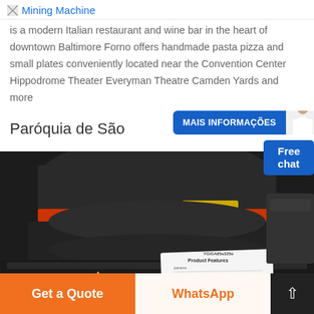Mining Machine
is a modern Italian restaurant and wine bar in the heart of downtown Baltimore Forno offers handmade pasta pizza and small plates conveniently located near the Convention Center Hippodrome Theater Everyman Theatre Camden Yards and more
Paróquia de São
[Figure (photo): Large industrial mining machine with black metal body, orange/red safety markings, chains, and a product specification label sheet visible at the bottom]
Get a Quote | WhatsApp | ↑